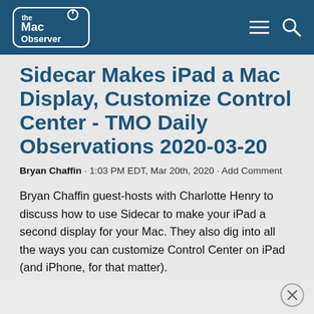The Mac Observer
Sidecar Makes iPad a Mac Display, Customize Control Center - TMO Daily Observations 2020-03-20
Bryan Chaffin · 1:03 PM EDT, Mar 20th, 2020 · Add Comment
Bryan Chaffin guest-hosts with Charlotte Henry to discuss how to use Sidecar to make your iPad a second display for your Mac. They also dig into all the ways you can customize Control Center on iPad (and iPhone, for that matter).